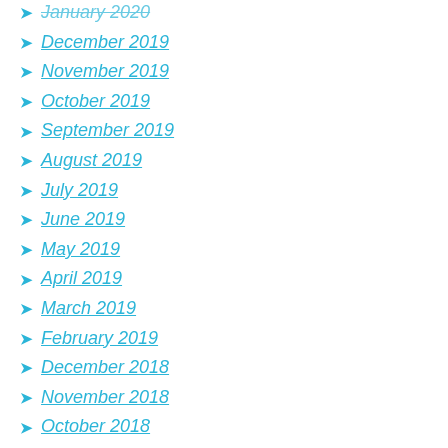January 2020
December 2019
November 2019
October 2019
September 2019
August 2019
July 2019
June 2019
May 2019
April 2019
March 2019
February 2019
December 2018
November 2018
October 2018
September 2018
August 2018